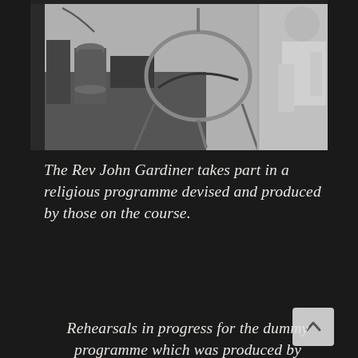[Figure (photo): Black and white photograph of a studio or laboratory setting showing equipment on a table including what appears to be a coffee percolator and other devices, with a person visible on the right side of the frame near a window or partition.]
The Rev John Gardiner takes part in a religious programme devised and produced by those on the course.
Rehearsals in progress for the dummy programme which was produced by